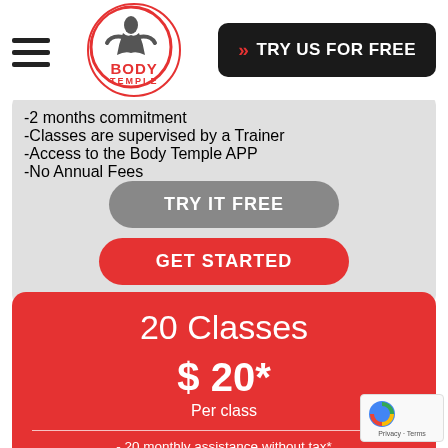[Figure (logo): Body Temple logo — circular red-bordered logo with stylized figure and red BODY TEMPLE text]
TRY US FOR FREE
-2 months commitment
-Classes are supervised by a Trainer
-Access to the Body Temple APP
-No Annual Fees
TRY IT FREE
GET STARTED
20 Classes
$ 20*
Per class
- 20 monthly assistance without tax*